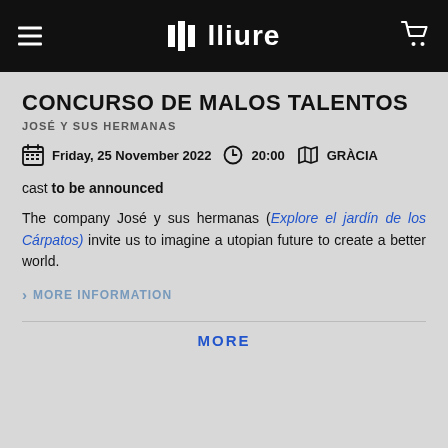lliure
CONCURSO DE MALOS TALENTOS
JOSÉ Y SUS HERMANAS
Friday, 25 November 2022  20:00  GRÀCIA
cast to be announced
The company José y sus hermanas (Explore el jardín de los Cárpatos) invite us to imagine a utopian future to create a better world.
MORE INFORMATION
MORE